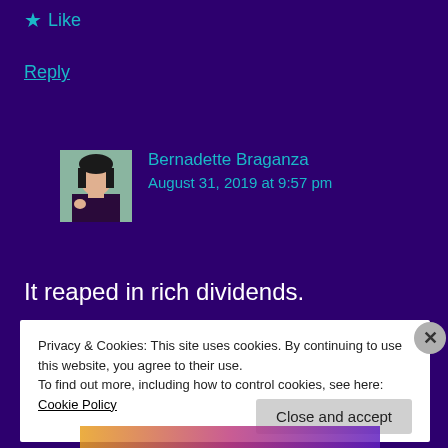★ Like
Reply
[Figure (illustration): Avatar of Bernadette Braganza - cartoon woman with dark hair]
Bernadette Braganza
August 31, 2019 at 9:57 pm
It reaped in rich dividends.
Privacy & Cookies: This site uses cookies. By continuing to use this website, you agree to their use.
To find out more, including how to control cookies, see here: Cookie Policy
Close and accept